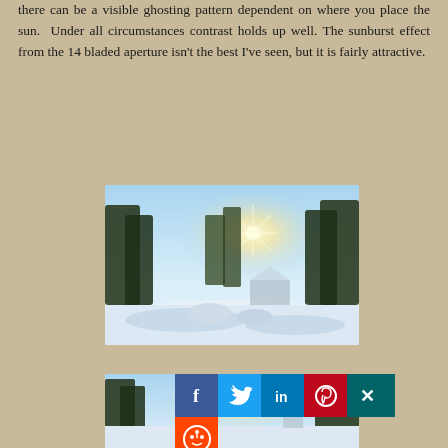there can be a visible ghosting pattern dependent on where you place the sun.  Under all circumstances contrast holds up well.  The sunburst effect from the 14 bladed aperture isn’t the best I’ve seen, but it is fairly attractive.
[Figure (photo): Outdoor winter scene with snow-covered ground, trees, and bright sun in the sky, showing sunburst effect.]
[Figure (photo): Second winter outdoor scene partially visible with social media sharing buttons overlaid: Facebook, Twitter, LinkedIn, Pinterest, XING, Reddit.]